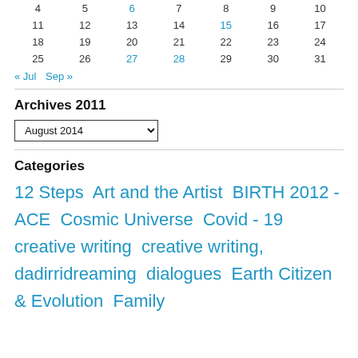| 4 | 5 | 6 | 7 | 8 | 9 | 10 |
| 11 | 12 | 13 | 14 | 15 | 16 | 17 |
| 18 | 19 | 20 | 21 | 22 | 23 | 24 |
| 25 | 26 | 27 | 28 | 29 | 30 | 31 |
« Jul   Sep »
Archives 2011
August 2014
Categories
12 Steps  Art and the Artist  BIRTH 2012 - ACE  Cosmic Universe  Covid - 19  creative writing  creative writing,  dadirridreaming  dialogues  Earth Citizen & Evolution  Family